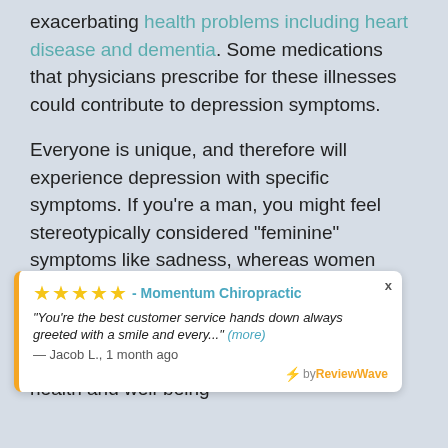exacerbating health problems including heart disease and dementia. Some medications that physicians prescribe for these illnesses could contribute to depression symptoms.
Everyone is unique, and therefore will experience depression with specific symptoms. If you're a man, you might feel stereotypically considered "feminine" symptoms like sadness, whereas women might get angry or irritable.
Regardless of what symptoms you experience, depression sabotages your health and well-being
[Figure (other): Review widget from ReviewWave showing 5-star rating for Momentum Chiropractic. Quote: 'You're the best customer service hands down always greeted with a smile and every...' (more) — Jacob L., 1 month ago]